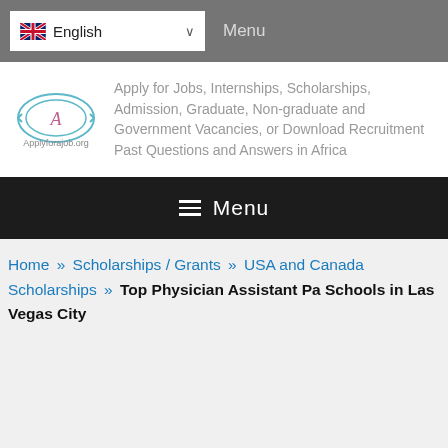English  Menu
[Figure (logo): Applyforajob.org logo with circular emblem containing letter A]
Apply for Jobs, Internships, Scholarships, Admission, Graduate, Non-graduate and Government Vacancies, or Download Recruitment Past Questions and Answers in Africa
Menu
Home » Scholarships / Grants » USA and Canada Scholarships » Top Physician Assistant Pa Schools in Las Vegas City